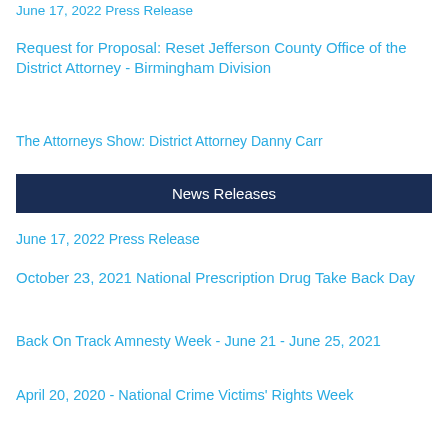June 17, 2022 Press Release
Request for Proposal: Reset Jefferson County Office of the District Attorney - Birmingham Division
The Attorneys Show: District Attorney Danny Carr
News Releases
June 17, 2022 Press Release
October 23, 2021 National Prescription Drug Take Back Day
Back On Track Amnesty Week - June 21 - June 25, 2021
April 20, 2020 - National Crime Victims' Rights Week